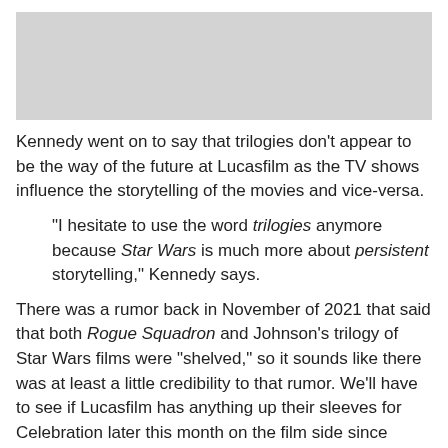[Figure (photo): Gray placeholder image at top of page]
Kennedy went on to say that trilogies don't appear to be the way of the future at Lucasfilm as the TV shows influence the storytelling of the movies and vice-versa.
"I hesitate to use the word trilogies anymore because Star Wars is much more about persistent storytelling," Kennedy says.
There was a rumor back in November of 2021 that said that both Rogue Squadron and Johnson's trilogy of Star Wars films were "shelved," so it sounds like there was at least a little credibility to that rumor. We'll have to see if Lucasfilm has anything up their sleeves for Celebration later this month on the film side since everyone mostly expects it to be a Celebration concerning nothing but TV news. Kennedy is giving us some hints here, so maybe we'll get some more